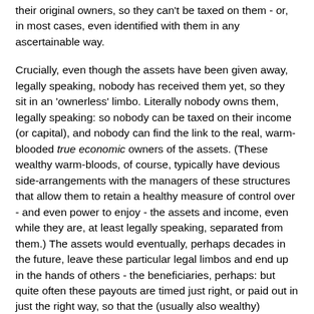their original owners, so they can't be taxed on them - or, in most cases, even identified with them in any ascertainable way.
Crucially, even though the assets have been given away, legally speaking, nobody has received them yet, so they sit in an 'ownerless' limbo. Literally nobody owns them, legally speaking: so nobody can be taxed on their income (or capital), and nobody can find the link to the real, warm-blooded true economic owners of the assets. (These wealthy warm-bloods, of course, typically have devious side-arrangements with the managers of these structures that allow them to retain a healthy measure of control over - and even power to enjoy - the assets and income, even while they are, at least legally speaking, separated from them.) The assets would eventually, perhaps decades in the future, leave these particular legal limbos and end up in the hands of others - the beneficiaries, perhaps: but quite often these payouts are timed just right, or paid out in just the right way, so that the (usually also wealthy) beneficiaries also avoid tax altogether: for example, the assets may well be injected into another 'ownerless' legal limbo somewhere else. Very often,